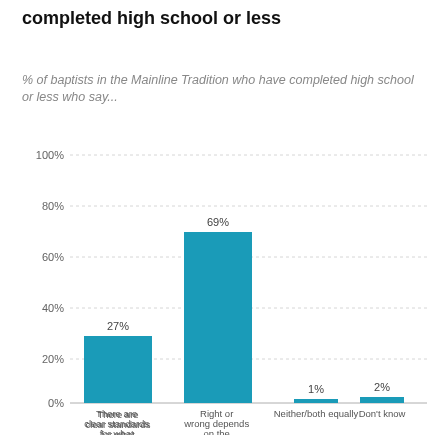completed high school or less
% of baptists in the Mainline Tradition who have completed high school or less who say...
[Figure (bar-chart): ]